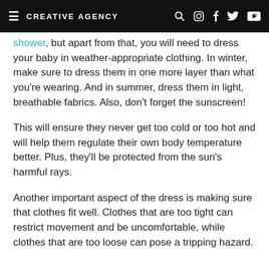CREATIVE AGENCY
shower, but apart from that, you will need to dress your baby in weather-appropriate clothing. In winter, make sure to dress them in one more layer than what you're wearing. And in summer, dress them in light, breathable fabrics. Also, don't forget the sunscreen!
This will ensure they never get too cold or too hot and will help them regulate their own body temperature better. Plus, they'll be protected from the sun's harmful rays.
Another important aspect of the dress is making sure that clothes fit well. Clothes that are too tight can restrict movement and be uncomfortable, while clothes that are too loose can pose a tripping hazard.